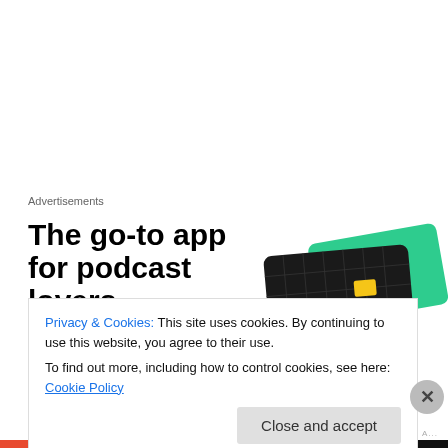Advertisements
[Figure (illustration): Advertisement for a podcast app. Large bold text reads 'The go-to app for podcast lovers.' with an orange/red 'Download now' link. Right side shows two overlapping cards - a dark card with a grid pattern and yellow square, and a green card with 'On' text and 'what' text visible.]
I developed another hobby which involved release dates.
Craft brewers like to do big PR campaigns whenever they
Privacy & Cookies: This site uses cookies. By continuing to use this website, you agree to their use.
To find out more, including how to control cookies, see here: Cookie Policy
Close and accept